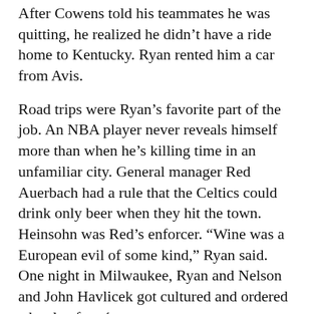After Cowens told his teammates he was quitting, he realized he didn't have a ride home to Kentucky. Ryan rented him a car from Avis.
Road trips were Ryan's favorite part of the job. An NBA player never reveals himself more than when he's killing time in an unfamiliar city. General manager Red Auerbach had a rule that the Celtics could drink only beer when they hit the town. Heinsohn was Red's enforcer. “Wine was a European evil of some kind,” Ryan said. One night in Milwaukee, Ryan and Nelson and John Havlicek got cultured and ordered a bottle of rosé.
“If Hawk comes in,” Havlicek told Ryan, “you’re drinking the wine.”
Ryan was close to the players — probably too close, he later realized. He also became interested in the plight of pro basketball players, and the movement that “began